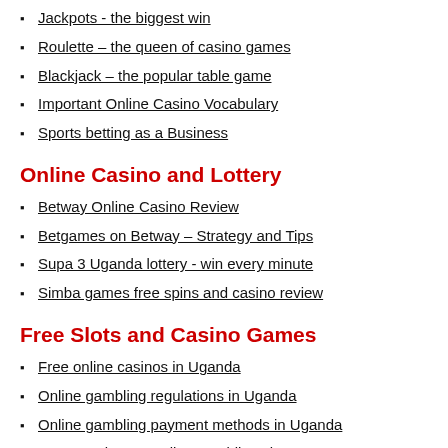Jackpots - the biggest win
Roulette – the queen of casino games
Blackjack – the popular table game
Important Online Casino Vocabulary
Sports betting as a Business
Online Casino and Lottery
Betway Online Casino Review
Betgames on Betway – Strategy and Tips
Supa 3 Uganda lottery - win every minute
Simba games free spins and casino review
Free Slots and Casino Games
Free online casinos in Uganda
Online gambling regulations in Uganda
Online gambling payment methods in Uganda
How to select an online gambling slot?
Mobile Casinos in Uganda
Classic vs. modern online slot machines